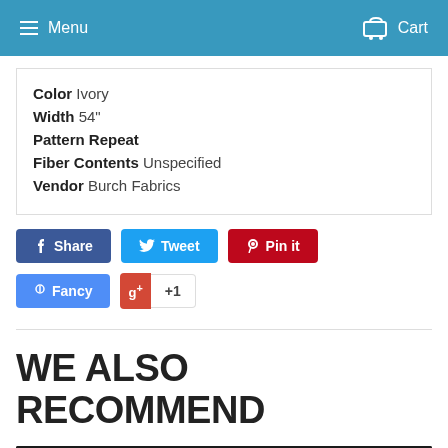Menu  Cart
Color Ivory
Width 54"
Pattern Repeat
Fiber Contents Unspecified
Vendor Burch Fabrics
[Figure (screenshot): Social sharing buttons: Share (Facebook), Tweet (Twitter), Pin it (Pinterest), Fancy, Google+ +1]
WE ALSO RECOMMEND
[Figure (photo): Dark product image thumbnail at bottom of page]